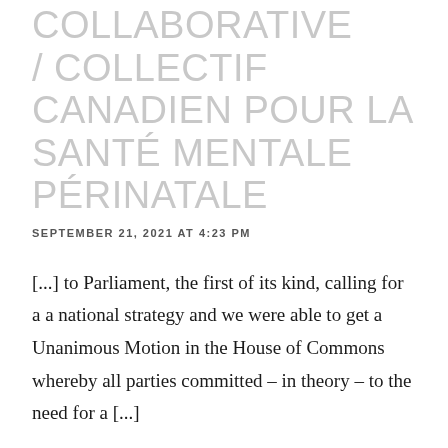HEALTH COLLABORATIVE / COLLECTIF CANADIEN POUR LA SANTÉ MENTALE PÉRINATALE
SEPTEMBER 21, 2021 AT 4:23 PM
[...] to Parliament, the first of its kind, calling for a a national strategy and we were able to get a Unanimous Motion in the House of Commons whereby all parties committed – in theory – to the need for a [...]